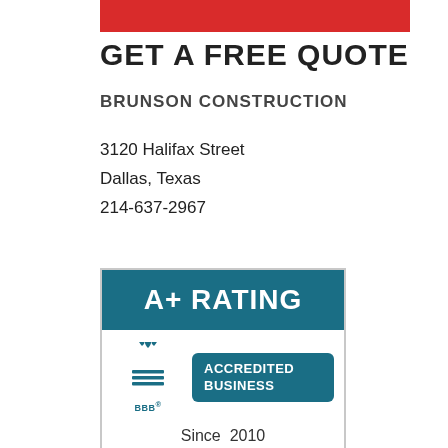[Figure (other): Red decorative bar at top of page]
GET A FREE QUOTE
BRUNSON CONSTRUCTION
3120 Halifax Street
Dallas, Texas
214-637-2967
[Figure (logo): BBB A+ Rating Accredited Business Since 2010 badge with teal background and BBB logo]